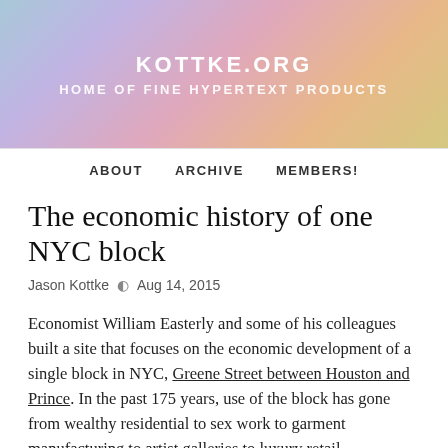KOTTKE.ORG
HOME OF FINE HYPERTEXT PRODUCTS
ABOUT   ARCHIVE   MEMBERS!
The economic history of one NYC block
Jason Kottke   🕐   Aug 14, 2015
Economist William Easterly and some of his colleagues built a site that focuses on the economic development of a single block in NYC, Greene Street between Houston and Prince. In the past 175 years, use of the block has gone from wealthy residential to sex work to garment manufacturing to artist galleries to luxury retail.